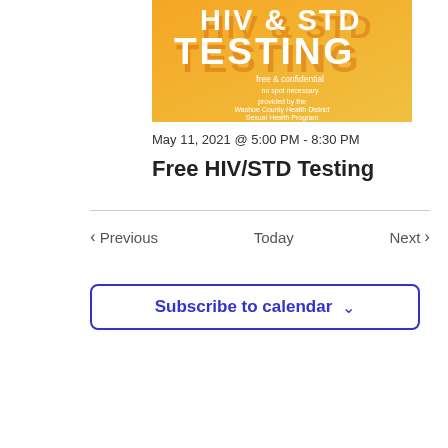[Figure (illustration): HIV & STD Testing promotional banner with orange/yellow gradient background. Shows 'HIV & STD TESTING' in large white bold text, 'free & confidential' and 'no spot necessary' in smaller white text, 'provided by the Washoe County Health District Sexual Health Program' in white text at the bottom.]
May 11, 2021 @ 5:00 PM - 8:30 PM
Free HIV/STD Testing
Previous  Today  Next
Subscribe to calendar